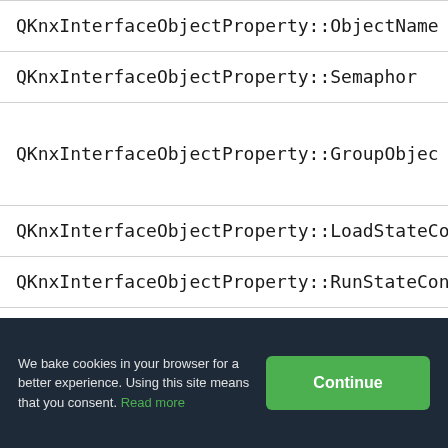| QKnxInterfaceObjectProperty::ObjectName |
| QKnxInterfaceObjectProperty::Semaphor |
| QKnxInterfaceObjectProperty::GroupObject |
| QKnxInterfaceObjectProperty::LoadStateCo |
| QKnxInterfaceObjectProperty::RunStateCon |
| QKnxInterfaceObjectProperty::TableRefer |
| QKnxInterfaceObjectProperty::ServiceCon |
| QKnxInterfaceObjectProperty::FirmwareRev |
We bake cookies in your browser for a better experience. Using this site means that you consent. Read more